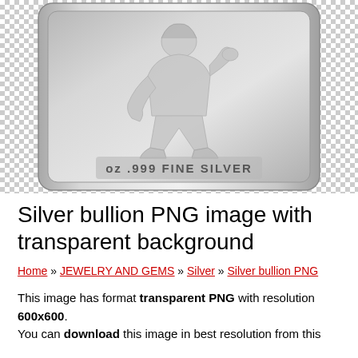[Figure (photo): A silver bullion bar with an engraved figure and text reading 'oz .999 FINE SILVER', displayed against a transparent (checkered) background.]
Silver bullion PNG image with transparent background
Home » JEWELRY AND GEMS » Silver » Silver bullion PNG
This image has format transparent PNG with resolution 600x600.
You can download this image in best resolution from this